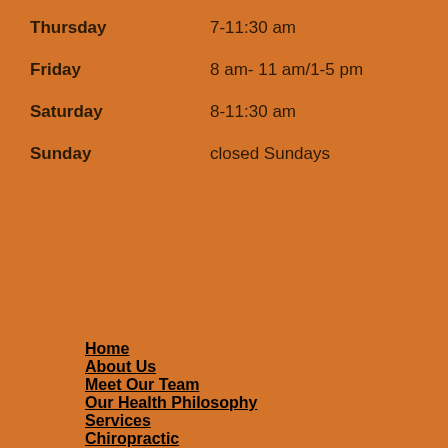Thursday    7-11:30 am
Friday    8 am- 11 am/1-5 pm
Saturday    8-11:30 am
Sunday    closed Sundays
Home
About Us
Meet Our Team
Our Health Philosophy
Services
Chiropractic
Post-Delivery Checkup for Mother and Child
Family Care
Performance Based Care